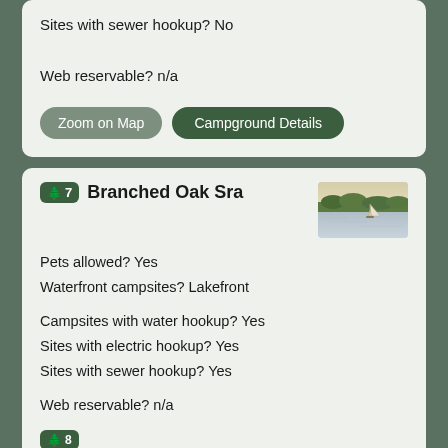Sites with sewer hookup? No
Web reservable? n/a
Zoom on Map   Campground Details
7 Branched Oak Sra
[Figure (photo): Sailboat on a lake with green trees in background and pale sky]
Pets allowed? Yes
Waterfront campsites? Lakefront

Campsites with water hookup? Yes
Sites with electric hookup? Yes
Sites with sewer hookup? Yes

Web reservable? n/a
Zoom on Map   Campground Details